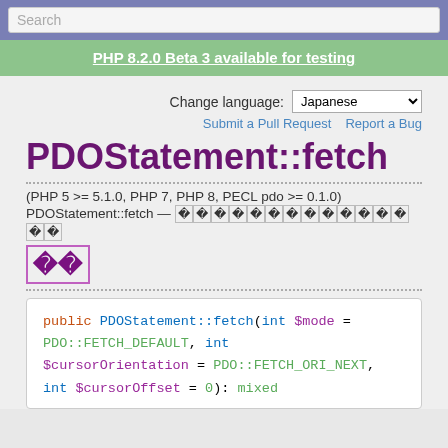Search
PHP 8.2.0 Beta 3 available for testing
Change language: Japanese
Submit a Pull Request   Report a Bug
PDOStatement::fetch
(PHP 5 >= 5.1.0, PHP 7, PHP 8, PECL pdo >= 0.1.0)
PDOStatement::fetch — 追加情報
説明
public PDOStatement::fetch(int $mode = PDO::FETCH_DEFAULT, int $cursorOrientation = PDO::FETCH_ORI_NEXT, int $cursorOffset = 0): mixed